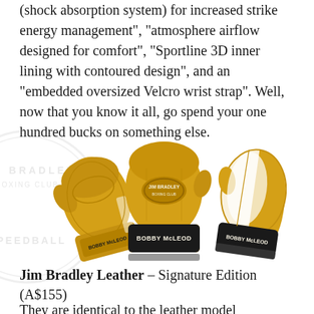(shock absorption system) for increased strike energy management", "atmosphere airflow designed for comfort", "Sportline 3D inner lining with contoured design", and an "embedded oversized Velcro wrist strap". Well, now that you know it all, go spend your one hundred bucks on something else.
[Figure (photo): Three yellow/gold boxing gloves (Jim Bradley Bobby McLeod brand) shown from multiple angles — side view on left, front view in center, back view on right. A circular watermark reading 'JIM BRADLEY SPEEDBALL' is visible behind the gloves.]
Jim Bradley Leather – Signature Edition (A$155)
They are identical to the leather model